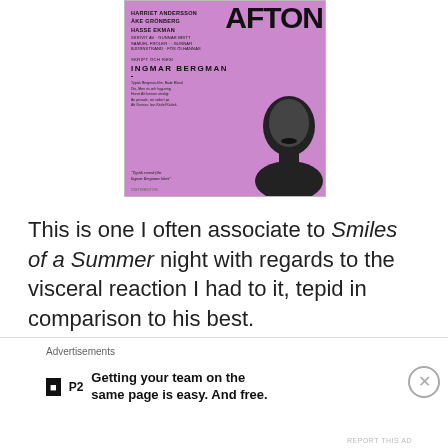[Figure (photo): Movie poster for a film featuring Harriet Andersson, Åke Grönberg, Hasse Ekman, directed by Ingmar Bergman. Pink/purple background with bold title text 'AFTON' and a black-and-white face portrait.]
This is one I often associate to Smiles of a Summer night with regards to the visceral reaction I had to it, tepid in comparison to his best.
27. Torment (Written by) (1944)
[Figure (photo): Partial view of another movie poster with colorful horizontal stripes (red, orange, yellow, blue).]
Advertisements
Getting your team on the same page is easy. And free.